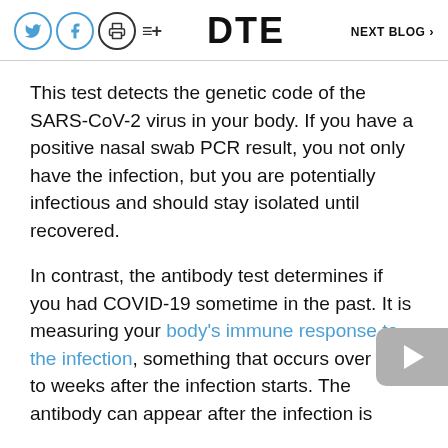DTE  NEXT BLOG >
This test detects the genetic code of the SARS-CoV-2 virus in your body. If you have a positive nasal swab PCR result, you not only have the infection, but you are potentially infectious and should stay isolated until recovered.
In contrast, the antibody test determines if you had COVID-19 sometime in the past. It is measuring your body's immune response to the infection, something that occurs over days to weeks after the infection starts. The antibody can appear after the infection is